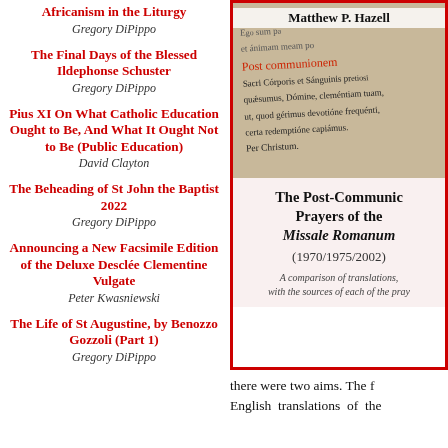Africanism in the Liturgy
Gregory DiPippo
The Final Days of the Blessed Ildephonse Schuster
Gregory DiPippo
Pius XI On What Catholic Education Ought to Be, And What It Ought Not to Be (Public Education)
David Clayton
The Beheading of St John the Baptist 2022
Gregory DiPippo
Announcing a New Facsimile Edition of the Deluxe Desclée Clementine Vulgate
Peter Kwasniewski
The Life of St Augustine, by Benozzo Gozzoli (Part 1)
Gregory DiPippo
[Figure (photo): Book cover for 'The Post-Communion Prayers of the Missale Romanum (1970/1975/2002)' by Matthew P. Hazell. Shows a photograph of a liturgical book page with Latin text including 'Post communionem' prayer. Below the photo is the book title, year range (1970/1975/2002), and a subtitle: 'A comparison of translations, with the sources of each of the pray...']
there were two aims. The f
English translations of the